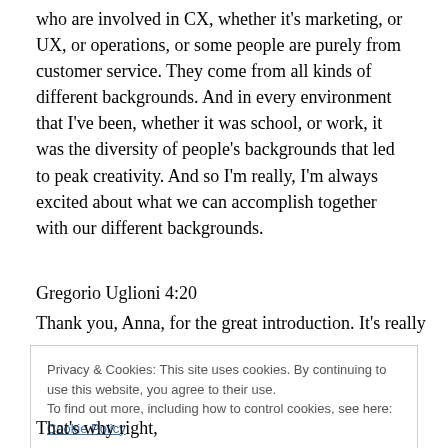who are involved in CX, whether it's marketing, or UX, or operations, or some people are purely from customer service. They come from all kinds of different backgrounds. And in every environment that I've been, whether it was school, or work, it was the diversity of people's backgrounds that led to peak creativity. And so I'm really, I'm always excited about what we can accomplish together with our different backgrounds.
Gregorio Uglioni 4:20
Thank you, Anna, for the great introduction. It's really
Privacy & Cookies: This site uses cookies. By continuing to use this website, you agree to their use.
To find out more, including how to control cookies, see here: Cookie Policy
That's why right,